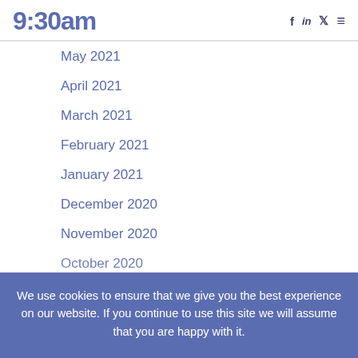9:30am
May 2021
April 2021
March 2021
February 2021
January 2021
December 2020
November 2020
October 2020
We use cookies to ensure that we give you the best experience on our website. If you continue to use this site we will assume that you are happy with it.